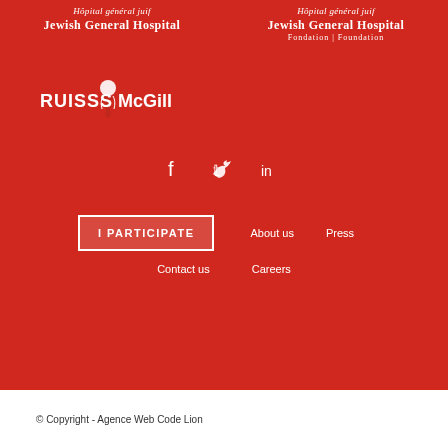[Figure (logo): Jewish General Hospital logo text - top left, white italic text]
[Figure (logo): Jewish General Hospital Foundation logo - top right, with Fondation | Foundation text]
[Figure (logo): RUISSS McGill logo - red and white logo with text]
[Figure (infographic): Social media icons: Facebook, Twitter, LinkedIn in white on red background]
I PARTICIPATE
About us
Press
Contact us
Careers
© Copyright - Agence Web Code Lion